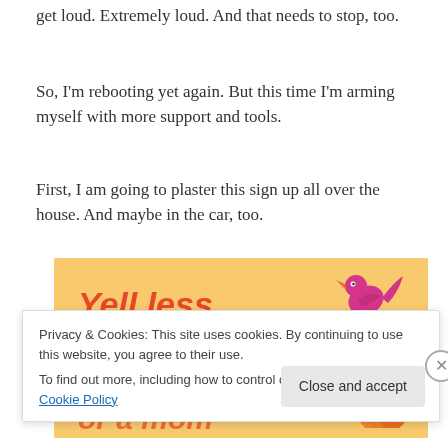get loud. Extremely loud. And that needs to stop, too.
So, I'm rebooting yet again. But this time I'm arming myself with more support and tools.
First, I am going to plaster this sign up all over the house. And maybe in the car, too.
[Figure (illustration): Orange/yellow background banner with decorative pattern. Text reads 'Yell less, LOVE MORE' in bold orange and pink fonts with a bird graphic and orange flame/hair illustration on the right side.]
Privacy & Cookies: This site uses cookies. By continuing to use this website, you agree to their use.
To find out more, including how to control cookies, see here: Cookie Policy